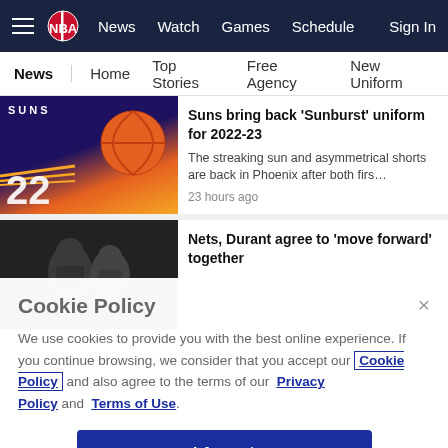NBA — News | Watch | Games | Schedule | Sign In
News | Home | Top Stories | Free Agency | New Uniform
[Figure (photo): Phoenix Suns jersey number 22 with sunburst logo]
Suns bring back 'Sunburst' uniform for 2022-23
The streaking sun and asymmetrical shorts are back in Phoenix after both firs…
23 hours ago
[Figure (photo): Kevin Durant in Nets uniform on the court]
Nets, Durant agree to 'move forward' together
Cookie Policy
We use cookies to provide you with the best online experience. If you continue browsing, we consider that you accept our Cookie Policy and also agree to the terms of our Privacy Policy and Terms of Use.
I Accept